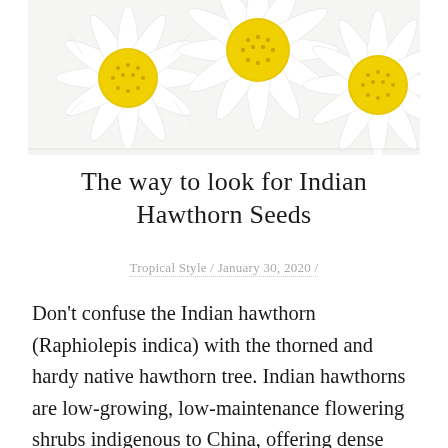[Figure (photo): Close-up photograph of white daisy flowers with bright yellow centers, viewed from above against a white background.]
The way to look for Indian Hawthorn Seeds
Tropical Style / January 30, 2020 /
Don’t confuse the Indian hawthorn (Raphiolepis indica) with the thorned and hardy native hawthorn tree. Indian hawthorns are low-growing, low-maintenance flowering shrubs indigenous to China, offering dense evergreen mounds of leaf around 6 feet high. The bush explodes with fragrant white or pink